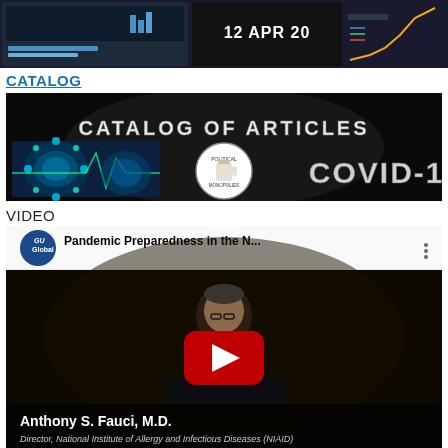[Figure (screenshot): Strip of screenshot thumbnails showing COVID-19 data dashboards including NVSS and date 12 APR 20]
CATALOG
[Figure (screenshot): Dark banner image reading 'CATALOG OF ARTICLES' with coronavirus imagery, a Political Monopolies logo, and 'COVID-19' text]
VIDEO
[Figure (screenshot): YouTube video thumbnail for 'Pandemic Preparedness in the N...' featuring Anthony S. Fauci, M.D., Director, National Institute of Allergy and Infectious Diseases (NIAID) with YouTube play button overlay and GU Global channel icon]